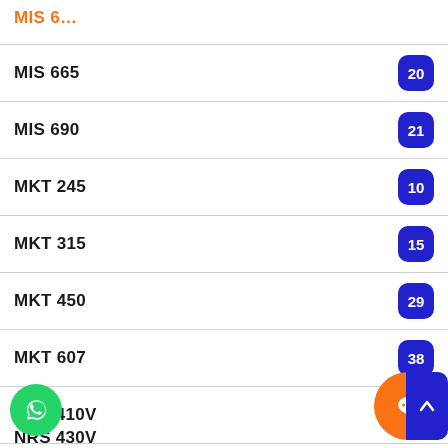MIS 665
MIS 690
MKT 245
MKT 315
MKT 450
MKT 607
NRS 410V
NRS 427V
NRS 429V
NRS 430V